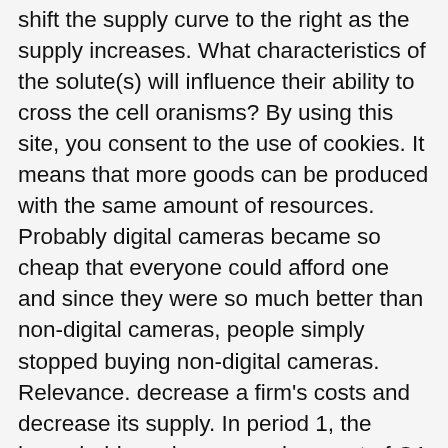shift the supply curve to the right as the supply increases. What characteristics of the solute(s) will influence their ability to cross the cell oranisms? By using this site, you consent to the use of cookies. It means that more goods can be produced with the same amount of resources. Probably digital cameras became so cheap that everyone could afford one and since they were so much better than non-digital cameras, people simply stopped buying non-digital cameras. Relevance. decrease a firm's costs and decrease its supply. In period 1, the household receives an endowment of Q1 = 5. In the instance above, since the government have placed a price ceiling on sales of laptop computers, the factor/event that would make the market change from price ceiling that is not binding to one that is binding is if the number of firms selling laptop decreases, this would result that the price ceiling not initially having effect on the market price to do have effects on the market prices as the required price set for the sales of laptop will be at price below equilibrium and bind on the remaining number of sellers of laptops in the market. Assume that during the study period, technology in iron and steel